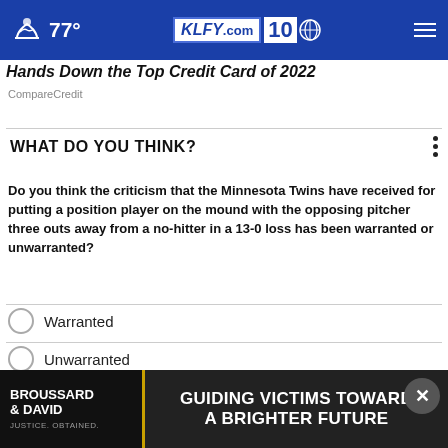77° KLFY.com 10
Hands Down the Top Credit Card of 2022
CompareCredit
WHAT DO YOU THINK?
Do you think the criticism that the Minnesota Twins have received for putting a position player on the mound with the opposing pitcher three outs away from a no-hitter in a 13-0 loss has been warranted or unwarranted?
Warranted
Unwarranted
I'm not sure
N
O
[Figure (advertisement): Broussard & David law firm advertisement with text 'GUIDING VICTIMS TOWARD A BRIGHTER FUTURE' and 'JUSTICE. OBTAINED.' tagline]